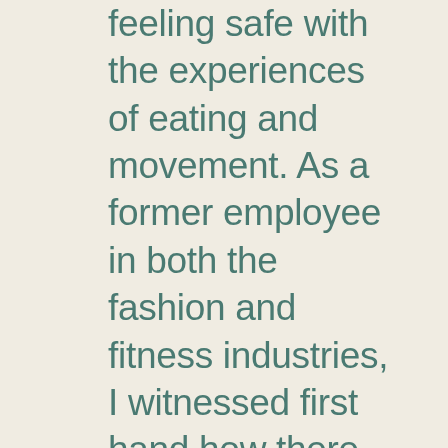My goal is to support individuals in feeling safe with the experiences of eating and movement. As a former employee in both the fashion and fitness industries, I witnessed first hand how there is an incredible amount of misinformation regarding nutrition and body image in society today. I believe Intuitive Eating and Health at Every Size © are invaluable tools for recovery. I am overjoyed to be a part of